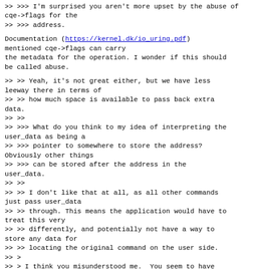>> >>> I'm surprised you aren't more upset by the abuse of cqe->flags for the
>> >>> address.
Documentation (https://kernel.dk/io_uring.pdf) mentioned cqe->flags can carry the metadata for the operation. I wonder if this should be called abuse.
>> >> Yeah, it's not great either, but we have less leeway there in terms of
>> >> how much space is available to pass back extra data.
>> >>
>> >>> What do you think to my idea of interpreting the user_data as being a
>> >>> pointer to somewhere to store the address? Obviously other things
>> >>> can be stored after the address in the user_data.
>> >>
>> >> I don't like that at all, as all other commands just pass user_data
>> >> through. This means the application would have to treat this very
>> >> differently, and potentially not have a way to store any data for
>> >> locating the original command on the user side.
>> >
>> > I think you misunderstood me.  You seem to have thought I meant.